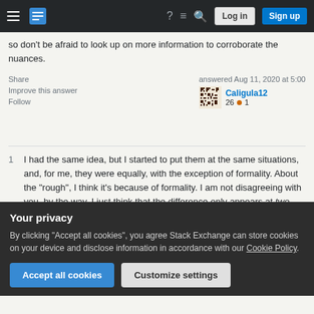Stack Exchange navigation bar with Log in and Sign up buttons
so don't be afraid to look up on more information to corroborate the nuances.
Share   Improve this answer   Follow   answered Aug 11, 2020 at 5:00   Caligula12   26 ● 1
1   I had the same idea, but I started to put them at the same situations, and, for me, they were equally, with the exception of formality. About the "rough", I think it's because of formality. I am not disagreeing with you, by the way, I just think that the difference only appears at two situations: formality and when we think about
Your privacy
By clicking "Accept all cookies", you agree Stack Exchange can store cookies on your device and disclose information in accordance with our Cookie Policy.
Accept all cookies   Customize settings